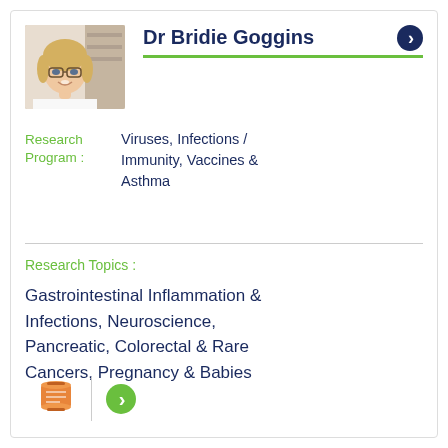[Figure (photo): Headshot photo of Dr Bridie Goggins, a woman with blonde hair and glasses, wearing a white top, in a clinical/lab setting]
Dr Bridie Goggins
Research Program : Viruses, Infections / Immunity, Vaccines & Asthma
Research Topics :
Gastrointestinal Inflammation & Infections, Neuroscience, Pancreatic, Colorectal & Rare Cancers, Pregnancy & Babies